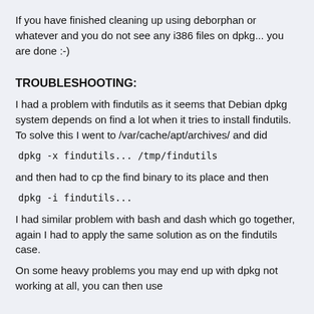If you have finished cleaning up using deborphan or whatever and you do not see any i386 files on dpkg... you are done :-)
TROUBLESHOOTING:
I had a problem with findutils as it seems that Debian dpkg system depends on find a lot when it tries to install findutils. To solve this I went to /var/cache/apt/archives/ and did
dpkg -x findutils... /tmp/findutils
and then had to cp the find binary to its place and then
dpkg -i findutils...
I had similar problem with bash and dash which go together, again I had to apply the same solution as on the findutils case.
On some heavy problems you may end up with dpkg not working at all, you can then use